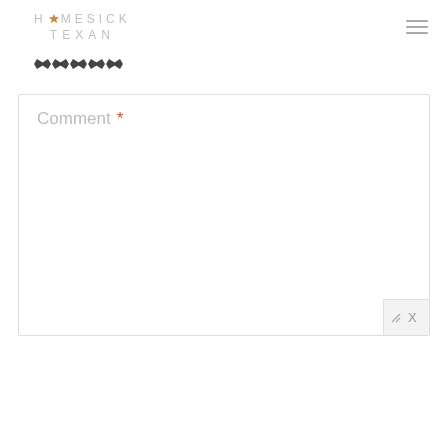HOMESICK TEXAN
[Figure (illustration): Five decorative bowtie/spur-like symbols in a row]
Comment *